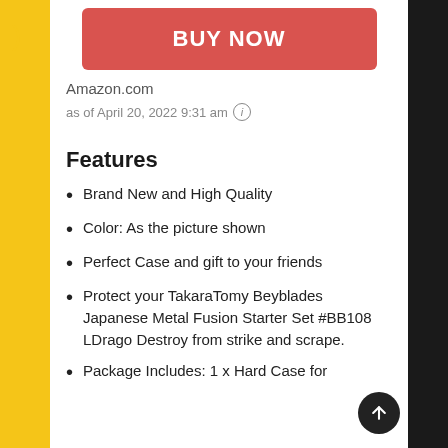[Figure (screenshot): BUY NOW button in red/coral color]
Amazon.com
as of April 20, 2022 9:31 am ℹ
Features
Brand New and High Quality
Color: As the picture shown
Perfect Case and gift to your friends
Protect your TakaraTomy Beyblades Japanese Metal Fusion Starter Set #BB108 LDrago Destroy from strike and scrape.
Package Includes: 1 x Hard Case for